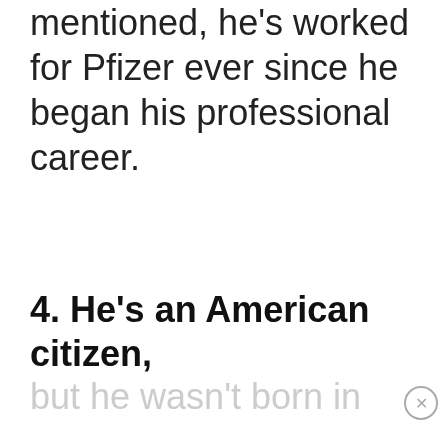mentioned, he's worked for Pfizer ever since he began his professional career.
4. He's an American citizen, but he wasn't born in